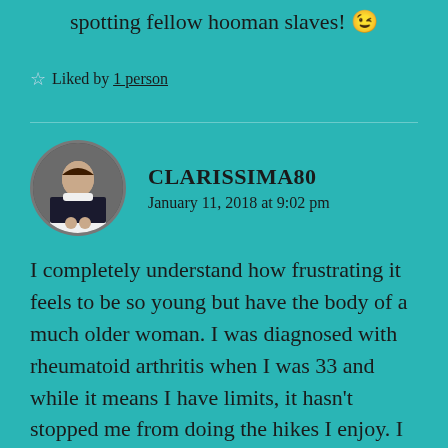spotting fellow hooman slaves! 😉
★ Liked by 1 person
CLARISSIMA80
January 11, 2018 at 9:02 pm
I completely understand how frustrating it feels to be so young but have the body of a much older woman. I was diagnosed with rheumatoid arthritis when I was 33 and while it means I have limits, it hasn't stopped me from doing the hikes I enjoy. I just do day hikes (so I'm carrying no weight) & I break it up. A walking holiday